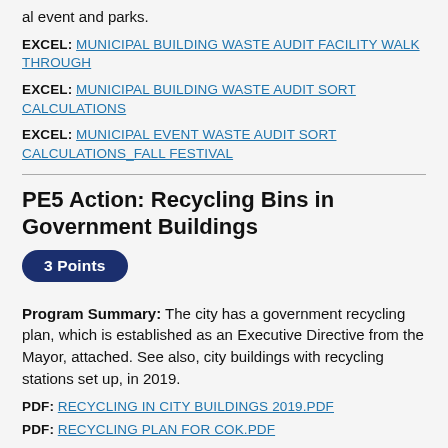al event and parks.
EXCEL: MUNICIPAL BUILDING WASTE AUDIT FACILITY WALK THROUGH
EXCEL: MUNICIPAL BUILDING WASTE AUDIT SORT CALCULATIONS
EXCEL: MUNICIPAL EVENT WASTE AUDIT SORT CALCULATIONS_FALL FESTIVAL
PE5 Action: Recycling Bins in Government Buildings
3 Points
Program Summary: The city has a government recycling plan, which is established as an Executive Directive from the Mayor, attached. See also, city buildings with recycling stations set up, in 2019.
PDF: RECYCLING IN CITY BUILDINGS 2019.PDF
PDF: RECYCLING PLAN FOR COK.PDF